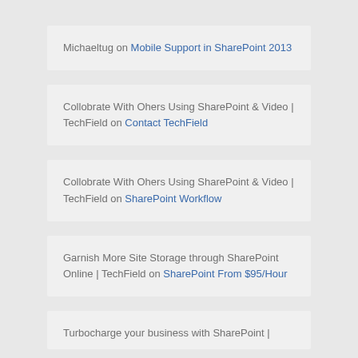Michaeltug on Mobile Support in SharePoint 2013
Collobrate With Ohers Using SharePoint & Video | TechField on Contact TechField
Collobrate With Ohers Using SharePoint & Video | TechField on SharePoint Workflow
Garnish More Site Storage through SharePoint Online | TechField on SharePoint From $95/Hour
Turbocharge your business with SharePoint |